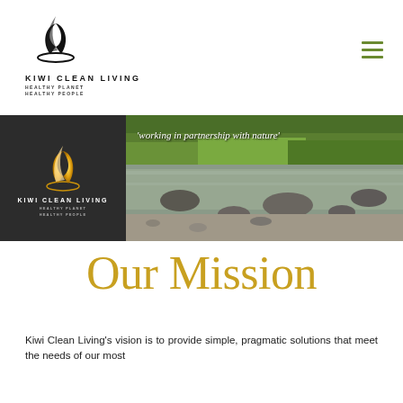[Figure (logo): Kiwi Clean Living logo with flame/feather mark, text 'KIWI CLEAN LIVING' and tagline 'HEALTHY PLANET HEALTHY PEOPLE']
[Figure (illustration): Hamburger menu icon in green]
[Figure (photo): Banner with dark left panel showing Kiwi Clean Living gold logo, and right panel showing a river/stream nature photo with text 'working in partnership with nature']
Our Mission
Kiwi Clean Living's vision is to provide simple, pragmatic solutions that meet the needs of our most